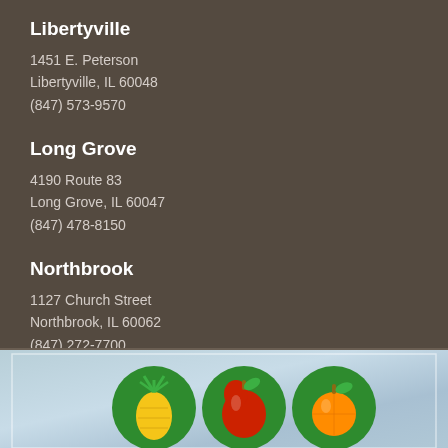Libertyville
1451 E. Peterson
Libertyville, IL 60048
(847) 573-9570
Long Grove
4190 Route 83
Long Grove, IL 60047
(847) 478-8150
Northbrook
1127 Church Street
Northbrook, IL 60062
(847) 272-7700
[Figure (illustration): Three circular fruit/vegetable icons on a light blue background: a yellow pineapple/carrot icon, a red apple icon, and an orange citrus icon, each on a green circular background.]